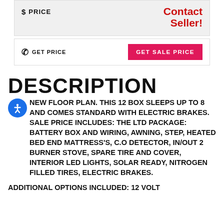$ PRICE
Contact Seller!
GET PRICE
GET SALE PRICE
DESCRIPTION
NEW FLOOR PLAN. THIS 12 BOX SLEEPS UP TO 8 AND COMES STANDARD WITH ELECTRIC BRAKES. SALE PRICE INCLUDES: THE LTD PACKAGE: BATTERY BOX AND WIRING, AWNING, STEP, HEATED BED END MATTRESS'S, C.O DETECTOR, IN/OUT 2 BURNER STOVE, SPARE TIRE AND COVER, INTERIOR LED LIGHTS, SOLAR READY, NITROGEN FILLED TIRES, ELECTRIC BRAKES.
ADDITIONAL OPTIONS INCLUDED: 12 VOLT